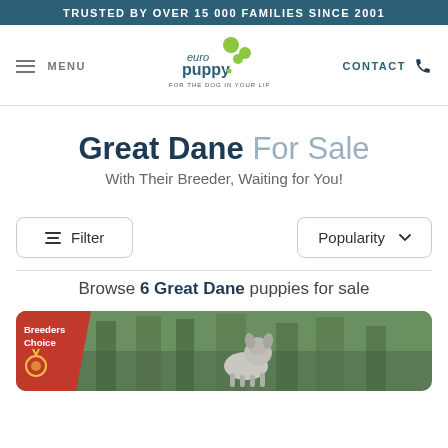TRUSTED BY OVER 15 000 FAMILIES SINCE 2001
[Figure (logo): Euro Puppy logo with green circles and text 'euro puppy FOR THE DOG IN YOUR LIFE']
Great Dane For Sale
With Their Breeder, Waiting for You!
Filter | Popularity dropdown
Browse 6 Great Dane puppies for sale
[Figure (photo): Breeders Choice badge over a photo of a Great Dane puppy in a forest setting]